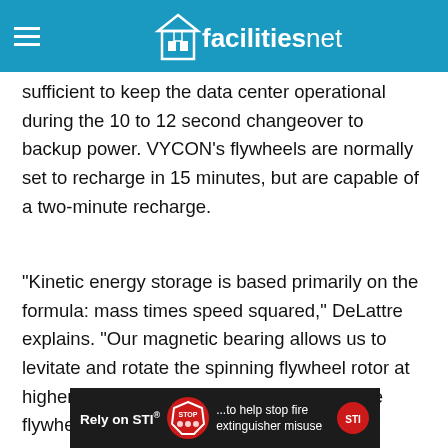facilitiesnet
sufficient to keep the data center operational during the 10 to 12 second changeover to backup power. VYCON's flywheels are normally set to recharge in 15 minutes, but are capable of a two-minute recharge.
"Kinetic energy storage is based primarily on the formula: mass times speed squared," DeLattre explains. "Our magnetic bearing allows us to levitate and rotate the spinning flywheel rotor at higher speeds. By doubling the speed of the flywheel, we
[Figure (other): Advertisement banner: Rely on STI® ...to help stop fire extinguisher misuse, with red stop sign graphic and STI badge]